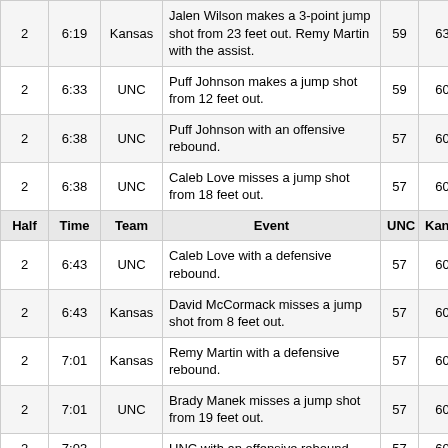| Half | Time | Team | Event | UNC | Kansas |
| --- | --- | --- | --- | --- | --- |
| 2 | 6:19 | Kansas | Jalen Wilson makes a 3-point jump shot from 23 feet out. Remy Martin with the assist. | 59 | 63 |
| 2 | 6:33 | UNC | Puff Johnson makes a jump shot from 12 feet out. | 59 | 60 |
| 2 | 6:38 | UNC | Puff Johnson with an offensive rebound. | 57 | 60 |
| 2 | 6:38 | UNC | Caleb Love misses a jump shot from 18 feet out. | 57 | 60 |
| Half | Time | Team | Event | UNC | Kansas |
| 2 | 6:43 | UNC | Caleb Love with a defensive rebound. | 57 | 60 |
| 2 | 6:43 | Kansas | David McCormack misses a jump shot from 8 feet out. | 57 | 60 |
| 2 | 7:01 | Kansas | Remy Martin with a defensive rebound. | 57 | 60 |
| 2 | 7:01 | UNC | Brady Manek misses a jump shot from 19 feet out. | 57 | 60 |
| 2 | 7:03 |  | UNC with an offensive rebound. | 57 | 60 |
| 2 | 7:03 | UNC | Caleb Love misses a layup shot. | 57 | 60 |